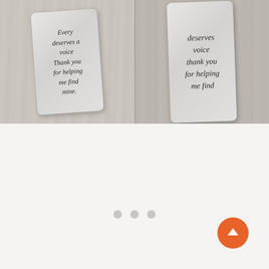[Figure (photo): Two side-by-side photos of metal dog-tag style keychains on a light wood background. The left tag shows handwritten script text reading 'Every[one] deserves a voice thank you for helping me find mine.' The right tag shows a closer view of a similar tag with the same script text partially visible: '[de]serves voice thank you for helping me find [mine]'.]